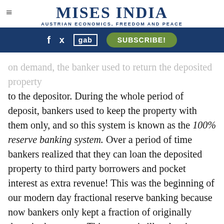MISES INDIA — AUSTRIAN ECONOMICS, FREEDOM AND PEACE
on demand, the banker used to return the deposited property to the depositor. During the whole period of deposit, bankers used to keep the property with them only, and so this system is known as the 100% reserve banking system. Over a period of time bankers realized that they can loan the deposited property to third party borrowers and pocket interest as extra revenue! This was the beginning of our modern day fractional reserve banking because now bankers only kept a fraction of originally deposited property. This system is illegal as it represents embezzlement or misappropriation of depositor's property. Whenever bankers made a mistake in giving loans and they were caught in bankruptcy, because the borrower defaulted on the loan and so banker couldn't return property to the depositor on time, they used to get heavy